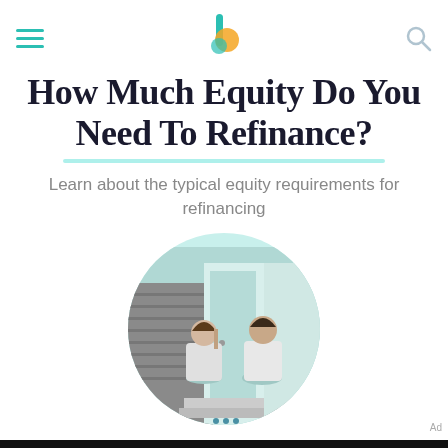[hamburger menu] [logo] [search icon]
How Much Equity Do You Need To Refinance?
Learn about the typical equity requirements for refinancing
[Figure (photo): Two people (appears to be a mother and daughter) sitting on steps outside a house, in a teal-tinted circular image]
We help people find answers, solve problems and get inspired. .dash